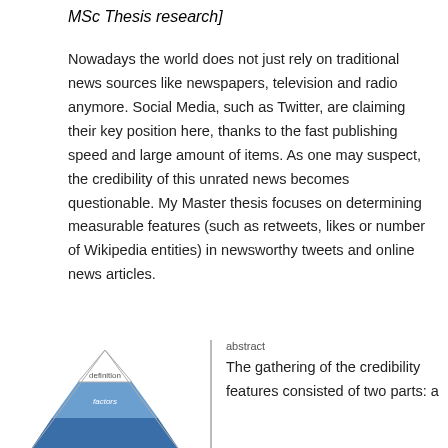MSc Thesis research]
Nowadays the world does not just rely on traditional news sources like newspapers, television and radio anymore. Social Media, such as Twitter, are claiming their key position here, thanks to the fast publishing speed and large amount of items. As one may suspect, the credibility of this unrated news becomes questionable. My Master thesis focuses on determining measurable features (such as retweets, likes or number of Wikipedia entities) in newsworthy tweets and online news articles.
[Figure (illustration): A pyramid diagram with three layers: 'definition' at the top (smallest, white/light), 'factors' in the middle (medium, medium blue), and a third unlabeled dark blue layer at the bottom (largest). A vertical line divides the pyramid from the text on the right.]
abstract
The gathering of the credibility features consisted of two parts: a